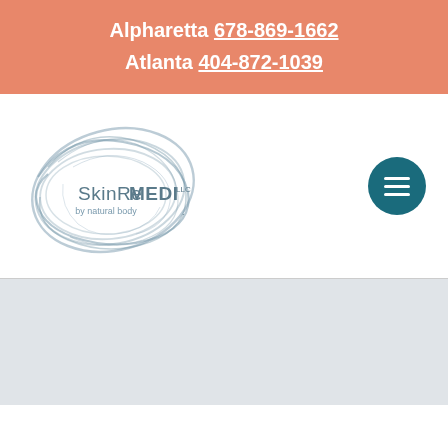Alpharetta 678-869-1662
Atlanta 404-872-1039
[Figure (logo): SkinReMEDI LLC by natural body logo — oval swirl design in slate blue/grey with company name text]
[Figure (other): Dark teal circular hamburger menu button with three white horizontal lines]